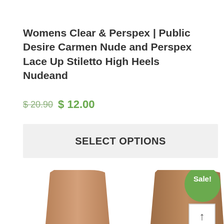Womens Clear & Perspex | Public Desire Carmen Nude and Perspex Lace Up Stiletto High Heels Nudeand
$ 20.90 $ 12.00
SELECT OPTIONS
[Figure (photo): Two legs wearing nude stiletto heels, shown from mid-thigh down. Left image shows lighter shade, right image shows slightly darker shade. A green 'Sale!' badge is visible in the top-right area.]